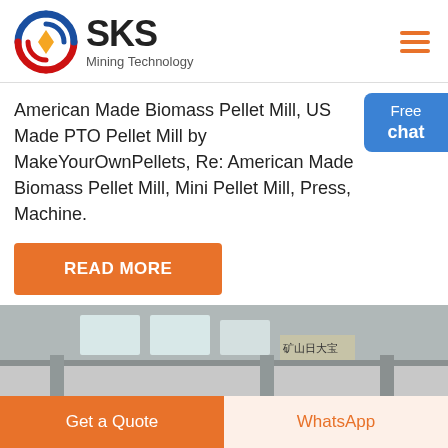[Figure (logo): SKS Mining Technology logo with red/blue circular arrows and gold diamond, company name SKS Mining Technology]
American Made Biomass Pellet Mill, US Made PTO Pellet Mill by MakeYourOwnPellets, Re: American Made Biomass Pellet Mill, Mini Pellet Mill, Press, Machine.
[Figure (other): Blue chat widget with 'Free chat' text and person icon on right side]
[Figure (photo): Industrial factory floor showing large cylindrical ball mill machinery, metal columns, pipes, and industrial equipment in a large warehouse]
READ MORE
Get a Quote
WhatsApp